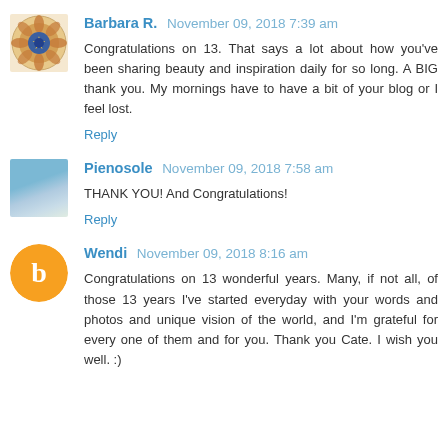Barbara R.  November 09, 2018 7:39 am
Congratulations on 13. That says a lot about how you've been sharing beauty and inspiration daily for so long. A BIG thank you. My mornings have to have a bit of your blog or I feel lost.
Reply
Pienosole  November 09, 2018 7:58 am
THANK YOU! And Congratulations!
Reply
Wendi  November 09, 2018 8:16 am
Congratulations on 13 wonderful years. Many, if not all, of those 13 years I've started everyday with your words and photos and unique vision of the world, and I'm grateful for every one of them and for you. Thank you Cate. I wish you well. :)